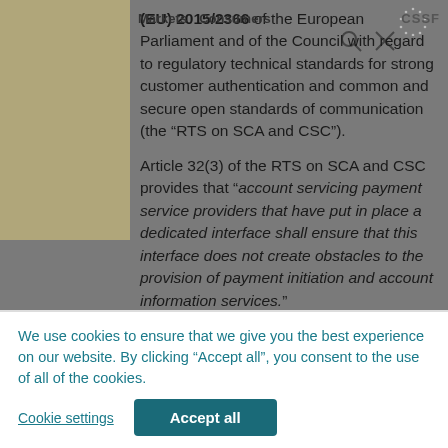(EU) 2015/2366 of the European Parliament and of the Council with regard to regulatory technical standards for strong customer authentication and common and secure open standards of communication (the “RTS on SCA and CSC”).
Article 32(3) of the RTS on SCA and CSC provides that “account servicing payment service providers that have put in place a dedicated interface shall ensure that this interface does not create obstacles to the provision of payment initiation and account information services.”
We use cookies to ensure that we give you the best experience on our website. By clicking “Accept all”, you consent to the use of all of the cookies.